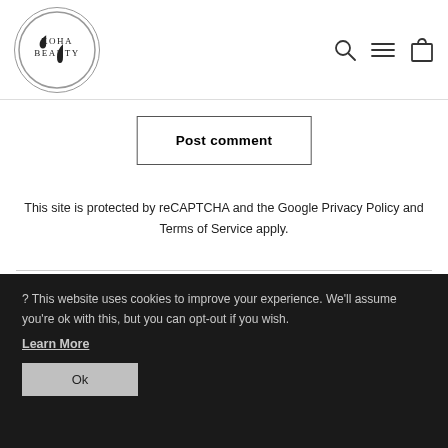[Figure (logo): Koha Beauty logo: circle with text KOHA BEAUTY and a water droplet icon]
[Figure (infographic): Navigation icons: search magnifying glass, hamburger menu, shopping bag]
Post comment
This site is protected by reCAPTCHA and the Google Privacy Policy and Terms of Service apply.
? This website uses cookies to improve your experience. We'll assume you're ok with this, but you can opt-out if you wish.
Learn More
Ok